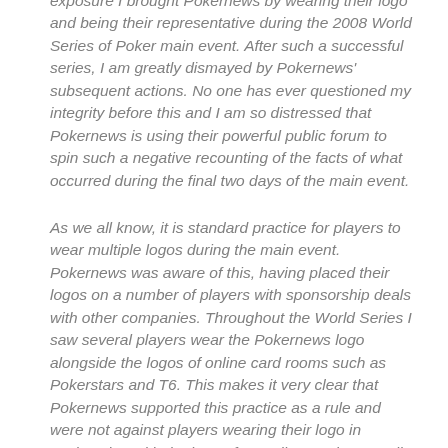exposure I brought Pokernews by wearing their logo and being their representative during the 2008 World Series of Poker main event. After such a successful series, I am greatly dismayed by Pokernews' subsequent actions. No one has ever questioned my integrity before this and I am so distressed that Pokernews is using their powerful public forum to spin such a negative recounting of the facts of what occurred during the final two days of the main event.
As we all know, it is standard practice for players to wear multiple logos during the main event. Pokernews was aware of this, having placed their logos on a number of players with sponsorship deals with other companies. Throughout the World Series I saw several players wear the Pokernews logo alongside the logos of online card rooms such as Pokerstars and T6. This makes it very clear that Pokernews supported this practice as a rule and were not against players wearing their logo in conjunction with the logo of an online card room. Like many other